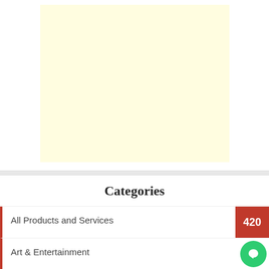[Figure (other): Yellow advertisement placeholder box on white card background]
Categories
All Products and Services  420
Art & Entertainment